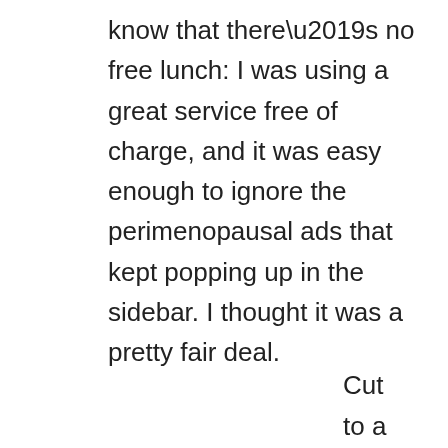know that there’s no free lunch: I was using a great service free of charge, and it was easy enough to ignore the perimenopausal ads that kept popping up in the sidebar. I thought it was a pretty fair deal.
Cut to a few months ago, when now